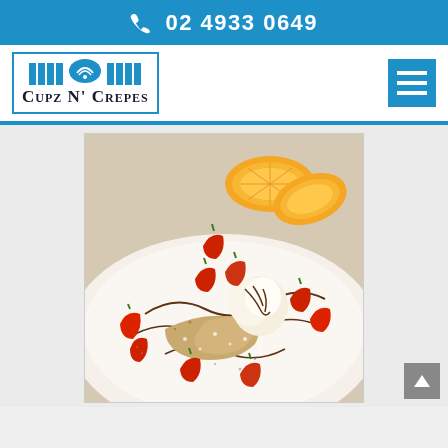02 4933 0649
[Figure (logo): Cupz N' Crepes logo with blue stripes and emblem above text in a blue border box]
[Figure (photo): Close-up food photo of crepes topped with fresh strawberries, ice cream, chocolate drizzle, and dusted with powdered sugar, with orange slices in the background, served on a white plate]
[Figure (other): Hamburger menu icon (three white lines on blue background)]